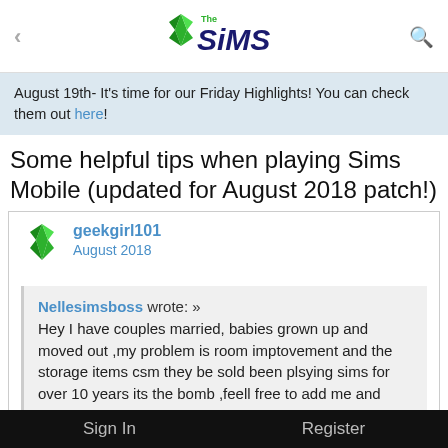< The Sims Q
August 19th- It's time for our Friday Highlights! You can check them out here!
Some helpful tips when playing Sims Mobile (updated for August 2018 patch!)
geekgirl101
August 2018
Nellesimsboss wrote: »
Hey I have couples married, babies grown up and moved out ,my problem is room imptovement and the storage items csm they be sold been plsying sims for over 10 years its the bomb ,feell free to add me and share any idess
Sign In    Register